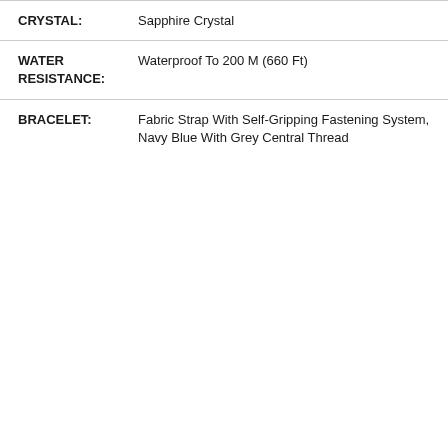| Attribute | Value |
| --- | --- |
| CRYSTAL: | Sapphire Crystal |
| WATER RESISTANCE: | Waterproof To 200 M (660 Ft) |
| BRACELET: | Fabric Strap With Self-Gripping Fastening System, Navy Blue With Grey Central Thread |